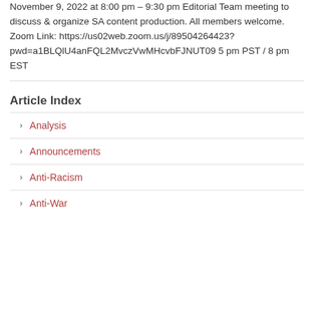November 9, 2022 at 8:00 pm – 9:30 pm Editorial Team meeting to discuss & organize SA content production. All members welcome. Zoom Link: https://us02web.zoom.us/j/89504264423?pwd=a1BLQlU4anFQL2MvczVwMHcvbFJNUT09 5 pm PST / 8 pm EST
Article Index
Analysis
Announcements
Anti-Racism
Anti-War